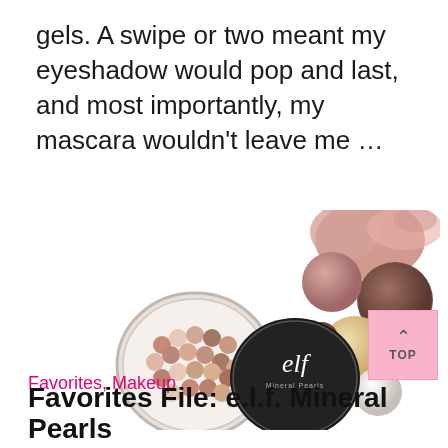gels. A swipe or two meant my eyeshadow would pop and last, and most importantly, my mascara wouldn't leave me …
[Figure (photo): e.l.f. Mineral Pearls product photo showing an open compact with colorful mineral pearl balls, black compact lid with elf logo, and scattered mineral pearl powders with various shades of pink, brown, tan, and white]
[Figure (other): Back-to-top navigation button with pink background, upward chevron arrow, and 'TOP' text]
Favorites, Makeup
Favorites File: e.l.f. Mineral Pearls